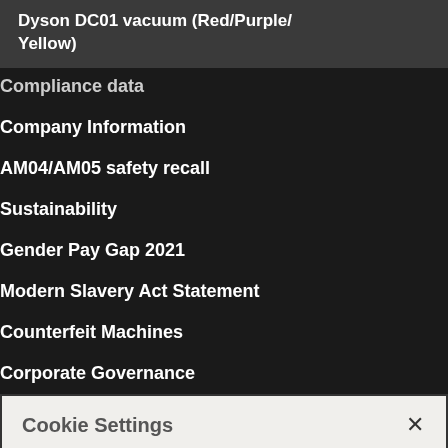Dyson DC01 vacuum (Red/Purple/Yellow)
Compliance data
Company Information
AM04/AM05 safety recall
Sustainability
Gender Pay Gap 2021
Modern Slavery Act Statement
Counterfeit Machines
Corporate Governance
Cookie Settings
Dyson websites use cookies. By continuing to use our websites, you accept that cookies may be stored on your device, as outlined in our Cookie Policy